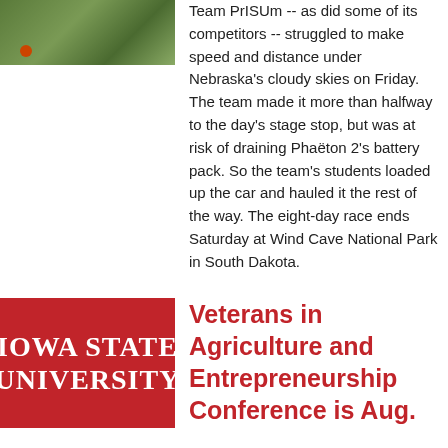[Figure (photo): Outdoor photo showing green grass field with an orange cone and what appears to be a vehicle or equipment in the background]
Team PrISUm -- as did some of its competitors -- struggled to make speed and distance under Nebraska's cloudy skies on Friday. The team made it more than halfway to the day's stage stop, but was at risk of draining Phaëton 2's battery pack. So the team's students loaded up the car and hauled it the rest of the way. The eight-day race ends Saturday at Wind Cave National Park in South Dakota.
[Figure (logo): Iowa State University red logo with white text reading IOWA STATE UNIVERSITY]
Veterans in Agriculture and Entrepreneurship Conference is Aug.